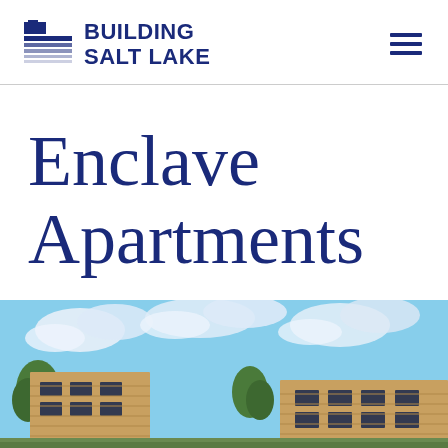BUILDING SALT LAKE
Enclave Apartments
[Figure (photo): Architectural rendering of Enclave Apartments building exterior with modern wood panel facade, large windows, trees, and blue sky with clouds]